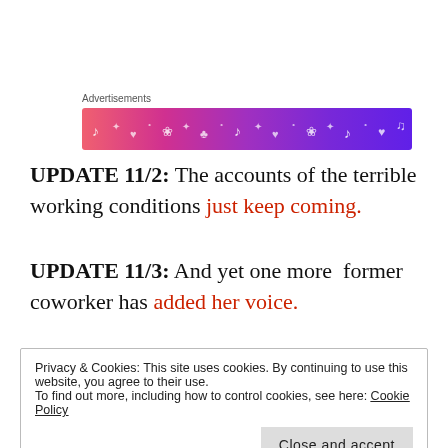[Figure (other): Advertisement banner with gradient pink-to-purple background and decorative music/nature icons]
UPDATE 11/2: The accounts of the terrible working conditions just keep coming.
UPDATE 11/3: And yet one more former coworker has added her voice.
Privacy & Cookies: This site uses cookies. By continuing to use this website, you agree to their use. To find out more, including how to control cookies, see here: Cookie Policy